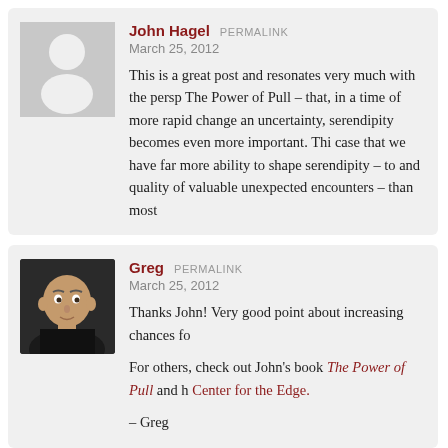[Figure (photo): Grey silhouette avatar placeholder for John Hagel]
John Hagel PERMALINK
March 25, 2012
This is a great post and resonates very much with the persp The Power of Pull – that, in a time of more rapid change an uncertainty, serendipity becomes even more important. Thi case that we have far more ability to shape serendipity – to and quality of valuable unexpected encounters – than most
[Figure (photo): Photo of Greg, a man in a black shirt with a shaved head]
Greg PERMALINK
March 25, 2012
Thanks John! Very good point about increasing chances fo
For others, check out John's book The Power of Pull and h Center for the Edge.
– Greg